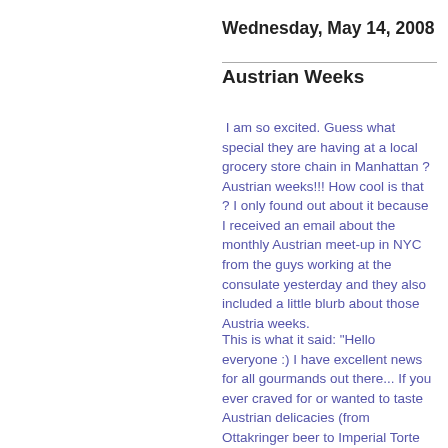Wednesday, May 14, 2008
Austrian Weeks
I am so excited. Guess what special they are having at a local grocery store chain in Manhattan ? Austrian weeks!!! How cool is that ? I only found out about it because I received an email about the monthly Austrian meet-up in NYC from the guys working at the consulate yesterday and they also included a little blurb about those Austria weeks.
This is what it said: "Hello everyone :) I have excellent news for all gourmands out there... If you ever craved for or wanted to taste Austrian delicacies (from Ottakringer beer to Imperial Torte to pumpkinseed oil and more), then now you can get them at the Food Emporium! The exciting